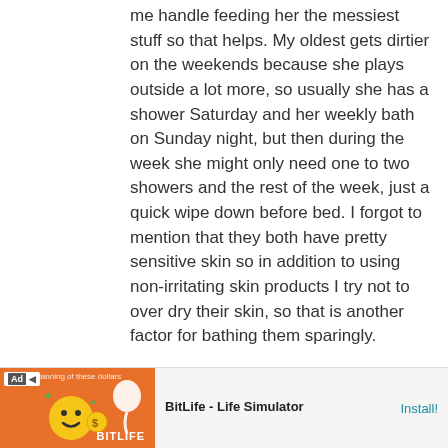me handle feeding her the messiest stuff so that helps. My oldest gets dirtier on the weekends because she plays outside a lot more, so usually she has a shower Saturday and her weekly bath on Sunday night, but then during the week she might only need one to two showers and the rest of the week, just a quick wipe down before bed. I forgot to mention that they both have pretty sensitive skin so in addition to using non-irritating skin products I try not to over dry their skin, so that is another factor for bathing them sparingly.
Link
[Figure (screenshot): Advertisement banner for BitLife - Life Simulator app showing an orange background with emoji and install button]